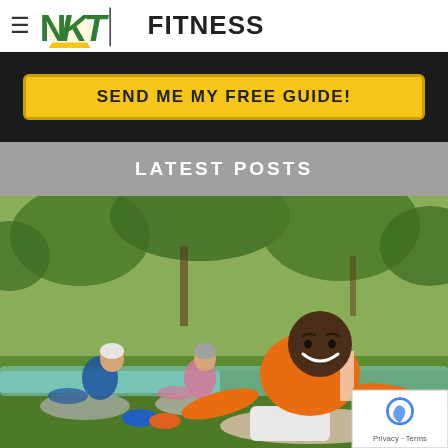[Figure (logo): NKT Fitness logo with stylized NK letters and vertical bar separator, followed by bold FITNESS text]
SEND ME MY FREE GUIDE!
LATEST POSTS
[Figure (photo): Group of senior adults doing seated stretching exercises on mats outdoors in a park, smiling man in orange shirt in foreground]